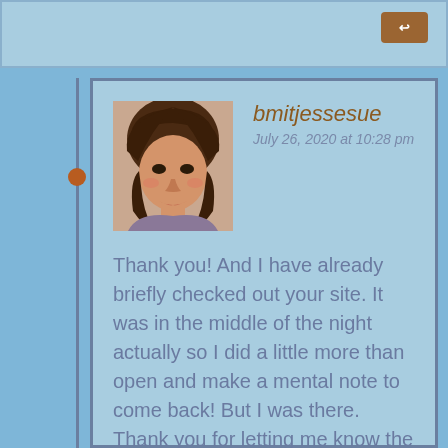[Figure (screenshot): Blog comment section with user avatar, username, timestamp and comment text]
bmitjessesue
July 26, 2020 at 10:28 pm
Thank you! And I have already briefly checked out your site. It was in the middle of the night actually so I did a little more than open and make a mental note to come back! But I was there. Thank you for letting me know the connection. I was enjoying reading all your posts on your other site as well. What a trial you have both been through! Sending all my best wishes your way. Remember to also take care of